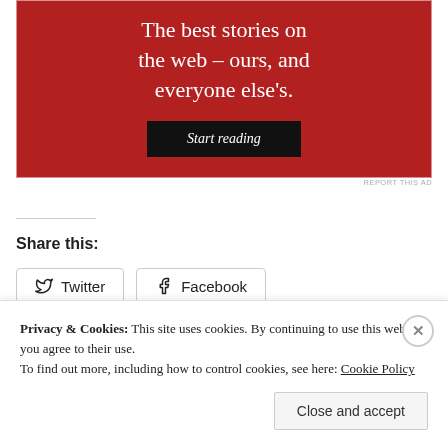[Figure (illustration): Red advertisement banner with white text reading 'The best stories on the web – ours, and everyone else's.' with a 'Start reading' button]
REPORT THIS AD
Share this:
Twitter   Facebook
Privacy & Cookies: This site uses cookies. By continuing to use this website, you agree to their use.
To find out more, including how to control cookies, see here: Cookie Policy
Close and accept